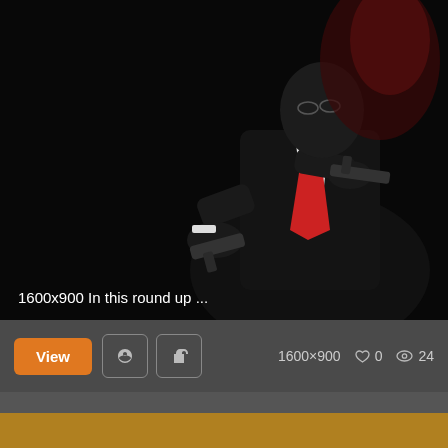[Figure (screenshot): Dark screenshot of Hitman game character in black suit with red tie holding guns, mostly black background]
1600x900 In this round up ...
View  p  f  1600×900  ♡ 0  👁 24
[Figure (screenshot): Car driving scene with warm golden light through autumnal trees, road stretching into distance]